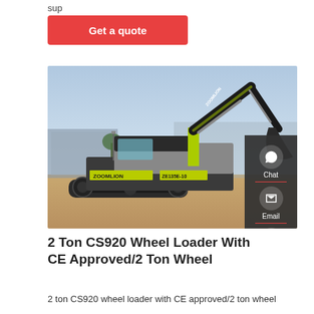sup
Get a quote
[Figure (photo): Zoomlion ZE135E-10 excavator (tracked), yellow-green and black/grey, parked on a construction site with industrial buildings in background. Brand name ZOOMLION visible on body.]
Chat
Email
Contact
2 Ton CS920 Wheel Loader With CE Approved/2 Ton Wheel
2 ton CS920 wheel loader with CE approved/2 ton wheel